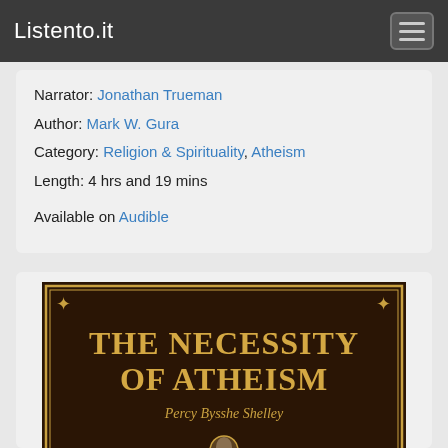Listento.it
Narrator: Jonathan Trueman
Author: Mark W. Gura
Category: Religion & Spirituality, Atheism
Length: 4 hrs and 19 mins
Available on Audible
[Figure (illustration): Book cover for 'The Necessity of Atheism' by Percy Bysshe Shelley. Dark brown background with ornate gold border. Large gold serif text reads 'THE NECESSITY OF ATHEISM'. Below in old-style script font: 'Percy Bysshe Shelley'. A circular medallion portrait at the bottom.]